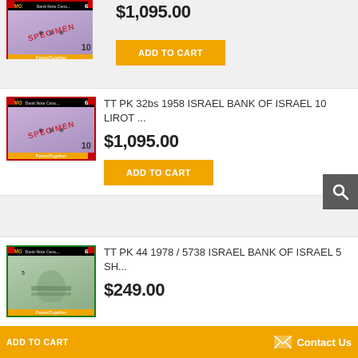[Figure (photo): PMG graded purple banknote specimen in holder - top card partial]
$1,095.00
ADD TO CART
[Figure (photo): PMG graded purple banknote specimen grade 65 in holder - TT PK 32bs 1958 Israel Bank of Israel 10 Lirot]
TT PK 32bs 1958 ISRAEL BANK OF ISRAEL 10 LIROT ...
$1,095.00
ADD TO CART
[Figure (photo): PMG graded green banknote grade 68 in holder - TT PK 44 1978 / 5738 Israel Bank of Israel 5 Sheqalim]
TT PK 44 1978 / 5738 ISRAEL BANK OF ISRAEL 5 SH...
$249.00
ADD TO CART
Contact Us